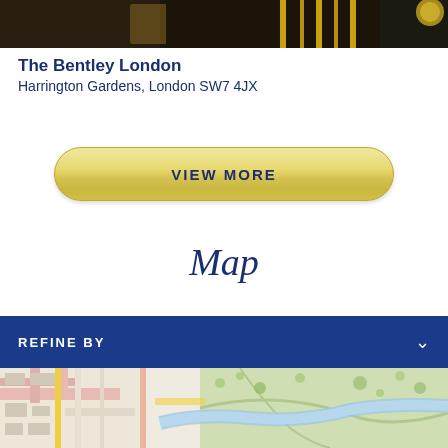[Figure (photo): Partial hotel exterior photo strip showing dark architectural details and gold/brass elements]
The Bentley London
Harrington Gardens, London SW7 4JX
[Figure (other): Golden gradient VIEW MORE button]
Map
REFINE BY
[Figure (map): Street map of London area near The Bentley London showing roads, parks (green areas), and a river with a zoom in (+) button]